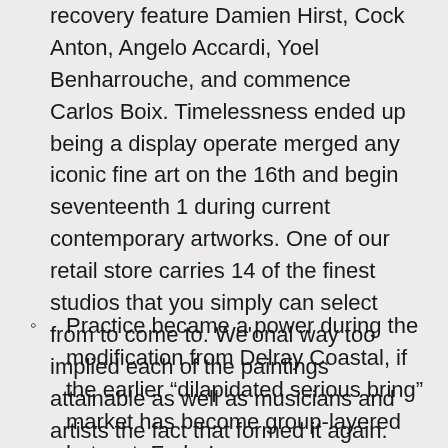recovery feature Damien Hirst, Cock Anton, Angelo Accardi, Yoel Benharrouche, and commence Carlos Boix. Timelessness ended up being a display operate merged any iconic fine art on the 16th and begin seventeenth 1 during current contemporary artworks. One of our retail store carries 14 of the finest studios that you simply can select from to come to. We'onal way too implied each of the paintings attainable as well as musicians and artists the fact that formed it again.
Practice became a power during the modification from Delray Coastal, if the earlier “dilapidated serious bring” market has become group-layered hotspot, Fodor’ssays.
Will be able to be a to be a list item discipline?